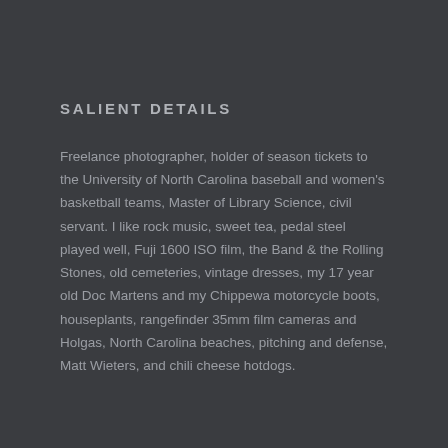SALIENT DETAILS
Freelance photographer, holder of season tickets to the University of North Carolina baseball and women's basketball teams, Master of Library Science, civil servant. I like rock music, sweet tea, pedal steel played well, Fuji 1600 ISO film, the Band & the Rolling Stones, old cemeteries, vintage dresses, my 17 year old Doc Martens and my Chippewa motorcycle boots, houseplants, rangefinder 35mm film cameras and Holgas, North Carolina beaches, pitching and defense, Matt Wieters, and chili cheese hotdogs.